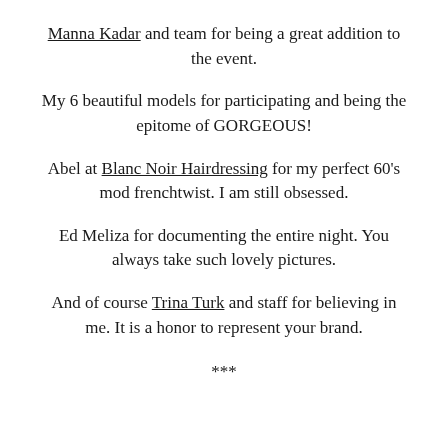Manna Kadar and team for being a great addition to the event.
My 6 beautiful models for participating and being the epitome of GORGEOUS!
Abel at Blanc Noir Hairdressing for my perfect 60’s mod frenchtwist. I am still obsessed.
Ed Meliza for documenting the entire night. You always take such lovely pictures.
And of course Trina Turk and staff for believing in me. It is a honor to represent your brand.
***